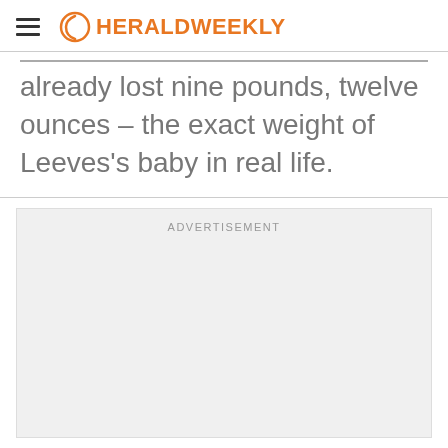HERALD WEEKLY
already lost nine pounds, twelve ounces – the exact weight of Leeves's baby in real life.
[Figure (other): Advertisement placeholder box]